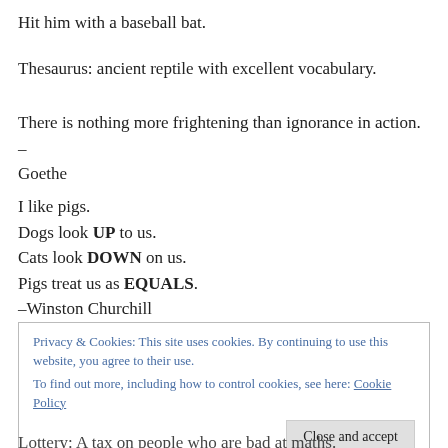Hit him with a baseball bat.
Thesaurus: ancient reptile with excellent vocabulary.
There is nothing more frightening than ignorance in action. – Goethe
I like pigs.
Dogs look UP to us.
Cats look DOWN on us.
Pigs treat us as EQUALS.
–Winston Churchill
Privacy & Cookies: This site uses cookies. By continuing to use this website, you agree to their use.
To find out more, including how to control cookies, see here: Cookie Policy
Lottery: A tax on people who are bad at maths.